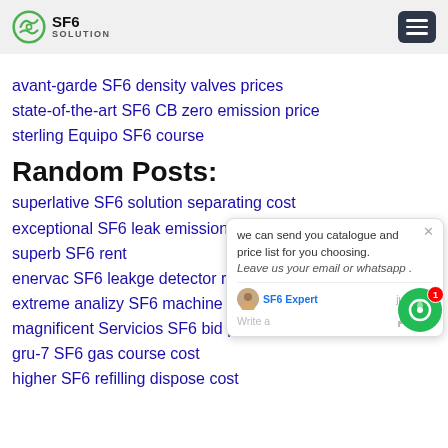SF6 SOLUTION
avant-garde SF6 density valves prices
state-of-the-art SF6 CB zero emission price
sterling Equipo SF6 course
Random Posts:
superlative SF6 solution separating cost
exceptional SF6 leak emissions cost
superb SF6 rent
enervac SF6 leakge detector reclaimer
extreme analizy SF6 machine manual cost
magnificent Servicios SF6 bid prices
gru-7 SF6 gas course cost
higher SF6 refilling dispose cost